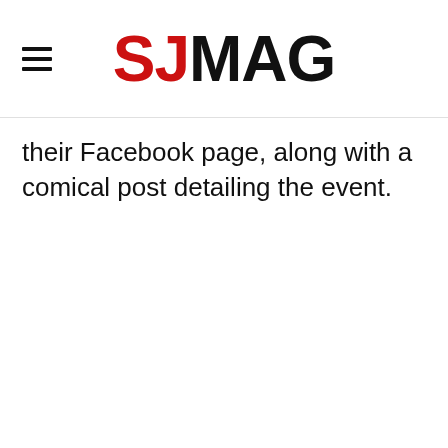SJMAG
their Facebook page, along with a comical post detailing the event.